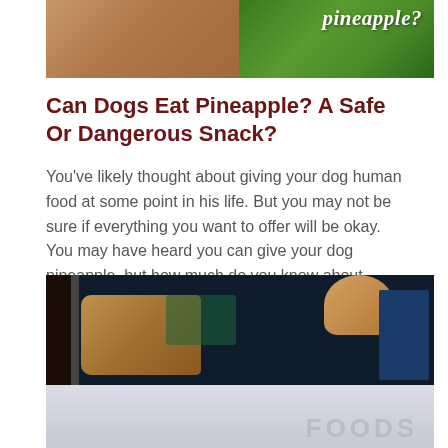[Figure (photo): Partial image of a fluffy dog with a pineapple, showing text 'pineapple?' in italic script]
Can Dogs Eat Pineapple? A Safe Or Dangerous Snack?
You've likely thought about giving your dog human food at some point in his life. But you may not be sure if everything you want to offer will be okay. You may have heard you can give your dog pineapple, but how much do you know about giving it to him safely? We can help you get the information you need about this sweet treat...
[Figure (photo): Dog looking into a refrigerator or counter with food items, dark background with blue refrigerator visible]
[Figure (photo): Reflection/bottom portion of the image with partial text 'FOODS' visible in light gray]